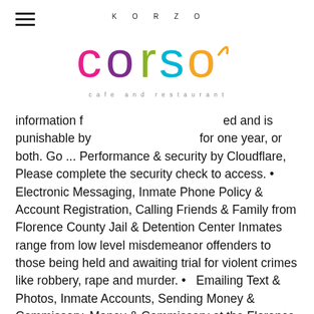KORZO
[Figure (logo): Korzo cafe and restaurant logo with colorful lettering: pink 'c', purple 'o', olive/green 'r', cyan 'r', orange 'o' with a loop, and subtitle 'cafe and restaurant' in small spaced letters]
information f ed and is punishable by for one year, or both. Go ... Performance & security by Cloudflare, Please complete the security check to access. • Electronic Messaging, Inmate Phone Policy & Account Registration, Calling Friends & Family from Florence County Jail & Detention Center Inmates range from low level misdemeanor offenders to those being held and awaiting trial for violent crimes like robbery, rape and murder. • Emailing Text & Photos, Inmate Accounts, Sending Money & Commissary, Money & Commissary at the Florence County Jail & Detention Center The Florence County Jail & Detention Center, located in the city of Effingham, in Florence County, South Carolina is a medium to maximum-security facility. • What is the Cost? If you are on a personal connection, like at home, you can run an anti-virus scan on your device to make sure it is not infected with malware. They also have a large contingent of